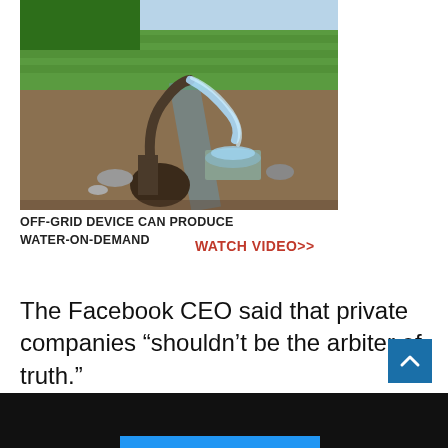[Figure (photo): An off-grid water pump device in a field, water flowing from a curved pipe into a bucket, with a green agricultural field and muddy irrigation channel in the background.]
OFF-GRID DEVICE CAN PRODUCE WATER-ON-DEMAND   WATCH VIDEO>>
The Facebook CEO said that private companies “shouldn’t be the arbiter of truth.”